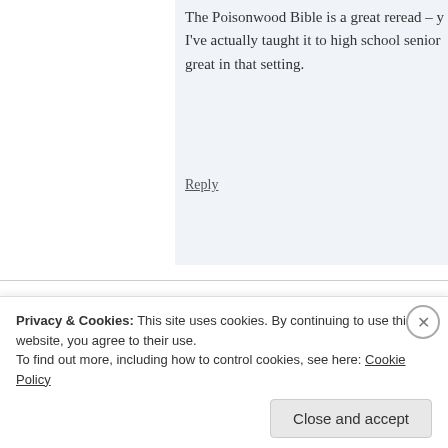The Poisonwood Bible is a great reread – y... I've actually taught it to high school senior... great in that setting.
Reply
Gretchen R says:
January 30, 2013 at 9:08 am
That book has been on my reading list for ages. Hmm...
Reply
Privacy & Cookies: This site uses cookies. By continuing to use this website, you agree to their use.
To find out more, including how to control cookies, see here: Cookie Policy
Close and accept